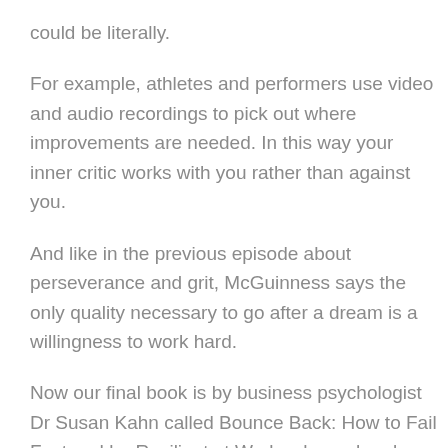could be literally.
For example, athletes and performers use video and audio recordings to pick out where improvements are needed. In this way your inner critic works with you rather than against you.
And like in the previous episode about perseverance and grit, McGuinness says the only quality necessary to go after a dream is a willingness to work hard.
Now our final book is by business psychologist Dr Susan Kahn called Bounce Back: How to Fail Fast and be Resilient at Work, where she also talks about gaining resilience through failing time and time again.